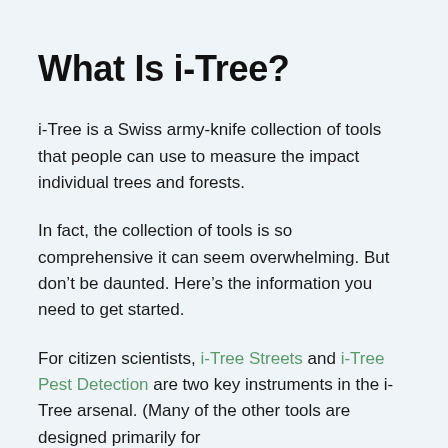What Is i-Tree?
i-Tree is a Swiss army-knife collection of tools that people can use to measure the impact individual trees and forests.
In fact, the collection of tools is so comprehensive it can seem overwhelming. But don’t be daunted. Here’s the information you need to get started.
For citizen scientists, i-Tree Streets and i-Tree Pest Detection are two key instruments in the i-Tree arsenal. (Many of the other tools are designed primarily for